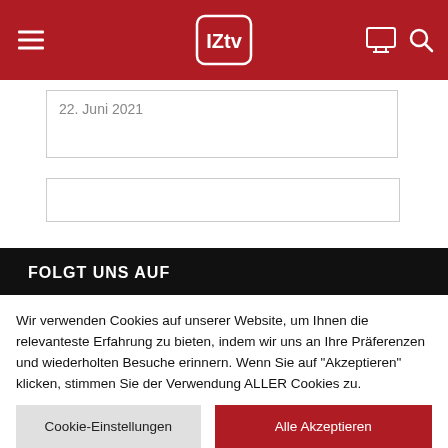IZtv navigation header with logo, menu, TV and search icons
22. Juni 2021
[Figure (screenshot): Empty input/text box]
FOLGT UNS AUF
[Figure (other): Social media icons: YouTube (red), Twitter (blue), Instagram (outline)]
Wir verwenden Cookies auf unserer Website, um Ihnen die relevanteste Erfahrung zu bieten, indem wir uns an Ihre Präferenzen und wiederholten Besuche erinnern. Wenn Sie auf "Akzeptieren" klicken, stimmen Sie der Verwendung ALLER Cookies zu.
Cookie-Einstellungen
Alle Akzeptieren